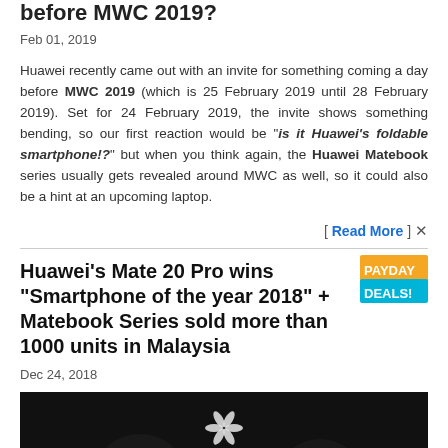before MWC 2019?
Feb 01, 2019
Huawei recently came out with an invite for something coming a day before MWC 2019 (which is 25 February 2019 until 28 February 2019). Set for 24 February 2019, the invite shows something bending, so our first reaction would be "is it Huawei's foldable smartphone!?" but when you think again, the Huawei Matebook series usually gets revealed around MWC as well, so it could also be a hint at an upcoming laptop.
[ Read More ] X
Huawei's Mate 20 Pro wins "Smartphone of the year 2018" + Matebook Series sold more than 1000 units in Malaysia
Dec 24, 2018
[Figure (photo): Dark background with Huawei logo, showing people in the background]